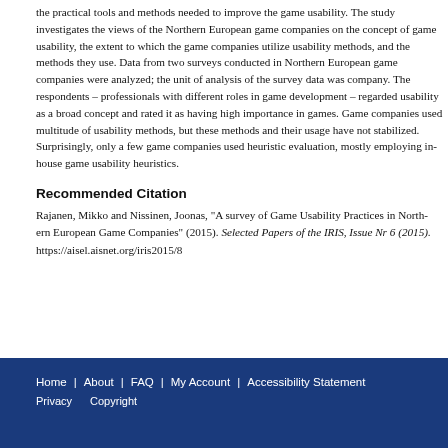the practical tools and methods needed to improve the game usability. The study investigates the views of the Northern European game companies on the concept of game usability, the extent to which the game companies utilize usability methods, and the methods they use. Data from two surveys conducted in Northern European game companies were analyzed; the unit of analysis of the survey data was company. The respondents – professionals with different roles in game development – regarded usability as a broad concept and rated it as having high importance in games. Game companies used multitude of usability methods, but these methods and their usage have not stabilized. Surprisingly, only a few game companies used heuristic evaluation, mostly employing in-house game usability heuristics.
Recommended Citation
Rajanen, Mikko and Nissinen, Joonas, "A survey of Game Usability Practices in Northern European Game Companies" (2015). Selected Papers of the IRIS, Issue Nr 6 (2015). https://aisel.aisnet.org/iris2015/8
Home | About | FAQ | My Account | Accessibility Statement Privacy   Copyright